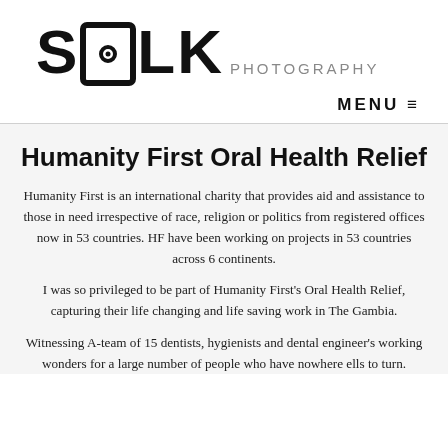[Figure (logo): SOLK PHOTOGRAPHY logo — large bold sans-serif lettering 'SOLK' with a square containing a circle and dot for the 'O', followed by smaller grey text 'PHOTOGRAPHY']
MENU ≡
Humanity First Oral Health Relief
Humanity First is an international charity that provides aid and assistance to those in need irrespective of race, religion or politics from registered offices now in 53 countries. HF have been working on projects in 53 countries across 6 continents.
I was so privileged to be part of Humanity First's Oral Health Relief, capturing their life changing and life saving work in The Gambia.
Witnessing A-team of 15 dentists, hygienists and dental engineer's working wonders for a large number of people who have nowhere ells to turn.